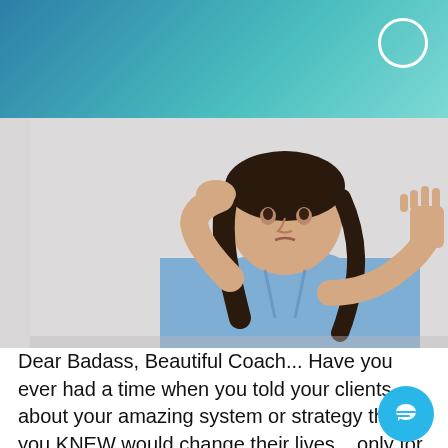[Figure (photo): A woman with dark curly hair in a blue button-up shirt, one hand raised to her forehead and the other hand extended outward in a 'stop' gesture, against a light gray background.]
Dear Badass, Beautiful Coach... Have you ever had a time when you told your clients about your amazing system or strategy that you KNEW would change their lives... only for them to respond with disinterest or confusion? And do you ever worry that you might not be ENOUGH of an expert, or wonder if your w of knowledge is deep enough to be worth the price